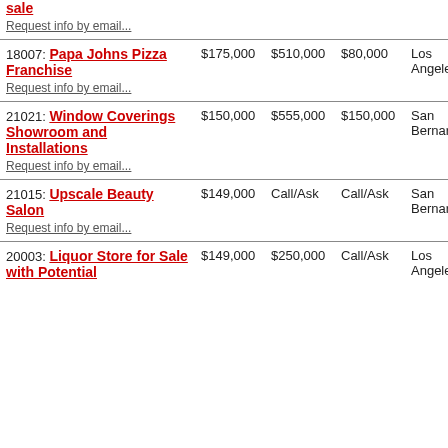| Listing | Price | Revenue | Cash Flow | Location |
| --- | --- | --- | --- | --- |
| sale
Request info by email... |  |  |  |  |
| 18007: Papa Johns Pizza Franchise
Request info by email... | $175,000 | $510,000 | $80,000 | Los Angeles |
| 21021: Window Coverings Showroom and Installations
Request info by email... | $150,000 | $555,000 | $150,000 | San Bernardino |
| 21015: Upscale Beauty Salon
Request info by email... | $149,000 | Call/Ask | Call/Ask | San Bernardino |
| 20003: Liquor Store for Sale with Potential
Request info by email... | $149,000 | $250,000 | Call/Ask | Los Angeles |